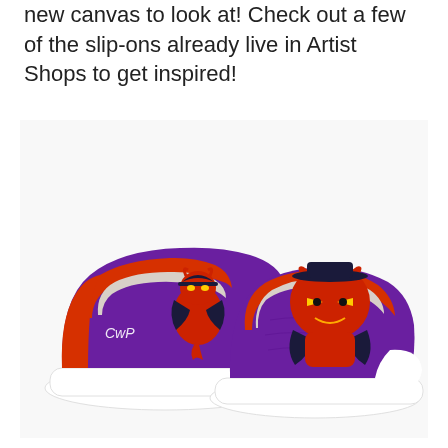new canvas to look at! Check out a few of the slip-ons already live in Artist Shops to get inspired!
[Figure (photo): A pair of custom slip-on sneakers with purple canvas upper, red trim/collar, and white sole. Both shoes feature a cartoon devil/demon character illustration. The left shoe shows the logo 'CWP' in white cursive.]